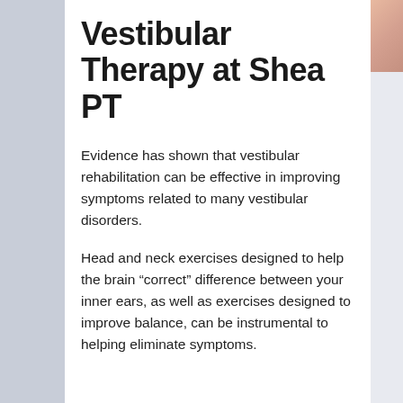Vestibular Therapy at Shea PT
Evidence has shown that vestibular rehabilitation can be effective in improving symptoms related to many vestibular disorders.
Head and neck exercises designed to help the brain “correct” difference between your inner ears, as well as exercises designed to improve balance, can be instrumental to helping eliminate symptoms.